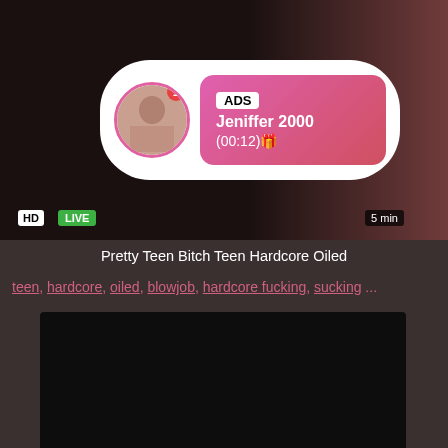[Figure (screenshot): Top video thumbnail with HD and LIVE badges, ADS popup overlay showing Jeniffer 2000 (00:12), 5 min badge]
Pretty Teen Bitch Teen Hardcore Oiled
teen, hardcore, oiled, blowjob, hardcore fucking, sucking ...
[Figure (screenshot): Bottom dark video thumbnail with HD badge and 5 min badge]
Restrained Chick Hardcore Blowjob Cocksucking